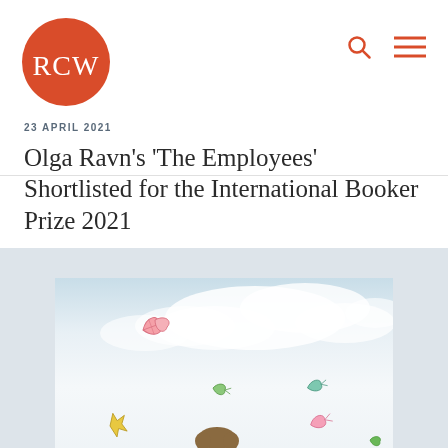RCW
23 APRIL 2021
Olga Ravn's 'The Employees' Shortlisted for the International Booker Prize 2021
[Figure (photo): Photo of a person (author) against a sky background with illustrated colorful leaf/bird shapes scattered around. The sky has soft clouds. The person is partially visible at the bottom of the image with brown hair.]